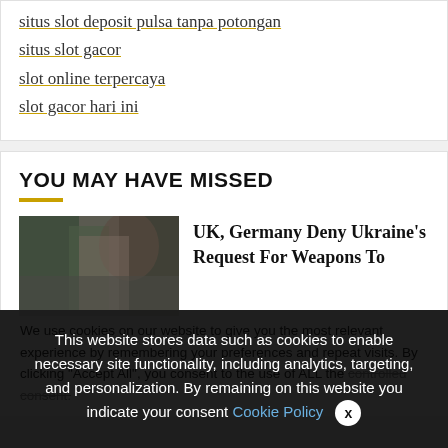situs slot deposit pulsa tanpa potongan
situs slot gacor
slot online terpercaya
slot gacor hari ini
YOU MAY HAVE MISSED
[Figure (photo): Photo of people in a winter or outdoor scene with trees]
UK, Germany Deny Ukraine's Request For Weapons To
We use cookies on our website to give you the most relevant experience by remembering your preferences and repeat visits. By clicking "Accept All", you consent to the use of ALL the controlled consent.
This website stores data such as cookies to enable necessary site functionality, including analytics, targeting, and personalization. By remaining on this website you indicate your consent Cookie Policy